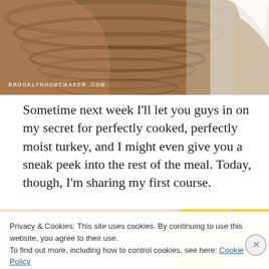[Figure (photo): Top portion of a wooden bowl with grain/rings visible, white cloth in background, watermark text BROOKLYNHOMEMAKER.COM at bottom left]
Sometime next week I'll let you guys in on my secret for perfectly cooked, perfectly moist turkey, and I might even give you a sneak peek into the rest of the meal. Today, though, I'm sharing my first course.
[Figure (photo): Close-up food photo showing yellow lemons and scattered seeds/nuts on a light surface]
Privacy & Cookies: This site uses cookies. By continuing to use this website, you agree to their use.
To find out more, including how to control cookies, see here: Cookie Policy